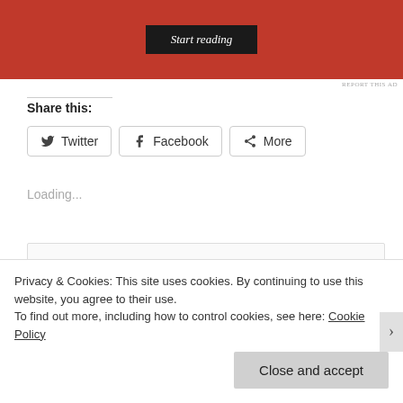[Figure (other): Red advertisement banner with 'Start reading' button in dark background]
REPORT THIS AD
Share this:
Twitter Facebook More
Loading...
Ben Trovato – Durban Poison
Privacy & Cookies: This site uses cookies. By continuing to use this website, you agree to their use.
To find out more, including how to control cookies, see here: Cookie Policy